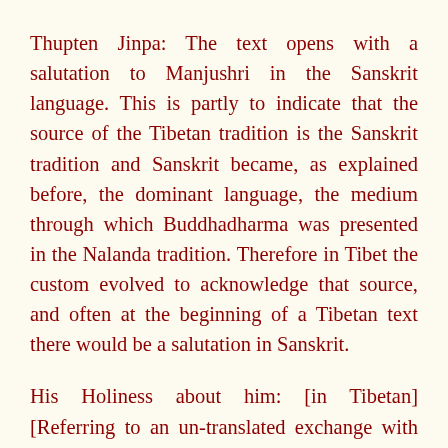Thupten Jinpa: The text opens with a salutation to Manjushri in the Sanskrit language. This is partly to indicate that the source of the Tibetan tradition is the Sanskrit tradition and Sanskrit became, as explained before, the dominant language, the medium through which Buddhadharma was presented in the Nalanda tradition. Therefore in Tibet the custom evolved to acknowledge that source, and often at the beginning of a Tibetan text there would be a salutation in Sanskrit.
His Holiness about him: [in Tibetan] [Referring to an un-translated exchange with scholars on stage] Everybody failed to recall that sentence. Of course, understandable. All scholars are now quite old. I know gradually forgetting.